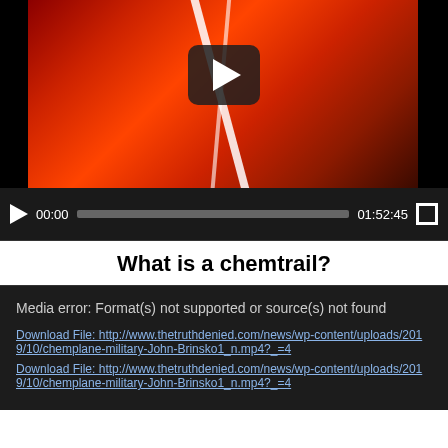[Figure (screenshot): Video player showing a reddish image with white streaks, paused at 00:00 with total duration 01:52:45. Controls bar visible at bottom of player.]
What is a chemtrail?
[Figure (screenshot): Media error box on dark background: 'Media error: Format(s) not supported or source(s) not found' with two download file links to http://www.thetruthdenied.com/news/wp-content/uploads/2019/10/chemplane-military-John-Brinsko1_n.mp4?_=4]